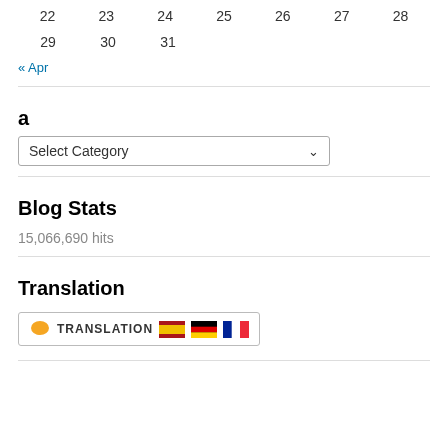| 22 | 23 | 24 | 25 | 26 | 27 | 28 |
| 29 | 30 | 31 |  |  |  |  |
« Apr
a
[Figure (screenshot): Select Category dropdown widget]
Blog Stats
15,066,690 hits
Translation
[Figure (screenshot): Translation button with speech bubble icon, TRANSLATION label, and Spanish, German, French flags]